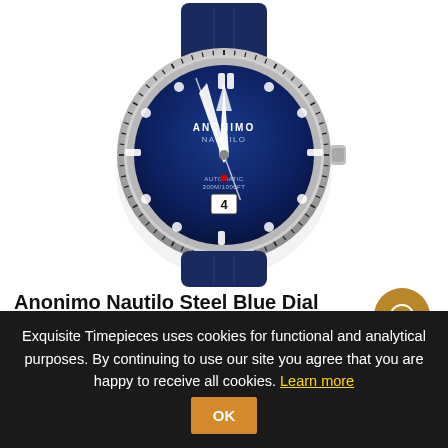[Figure (photo): Anonimo Nautilo Steel Blue Dial watch with blue dial, silver bezel with minute markers, blue leather strap, and date window at 6 o'clock.]
Anonimo Nautilo Steel Blue Dial
$1,000.00
Exquisite Timepieces uses cookies for functional and analytical purposes. By continuing to use our site you agree that you are happy to receive all cookies. Learn more  OK